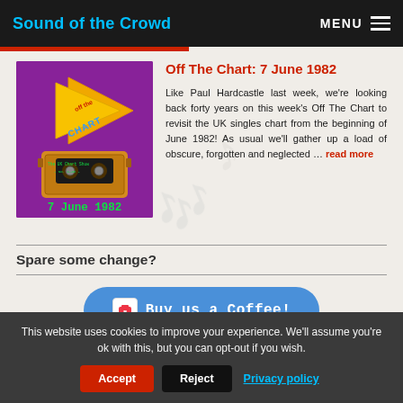Sound of the Crowd | MENU
Off The Chart: 7 June 1982
[Figure (illustration): Purple background album/podcast artwork for 'Off The Chart' showing a cassette tape and yellow arrow logo, with text '7 June 1982' in green at the bottom]
Like Paul Hardcastle last week, we're looking back forty years on this week's Off The Chart to revisit the UK singles chart from the beginning of June 1982! As usual we'll gather up a load of obscure, forgotten and neglected … read more
Spare some change?
Buy us a Coffee!
This website uses cookies to improve your experience. We'll assume you're ok with this, but you can opt-out if you wish.
Accept | Reject | Privacy policy